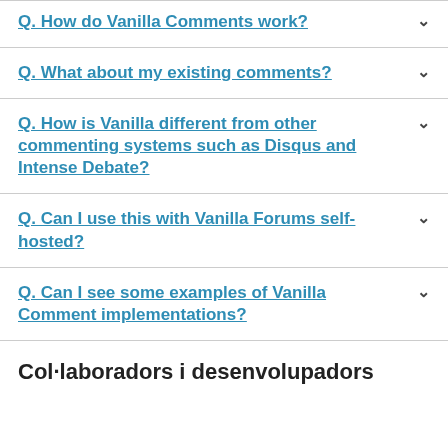Q. How do Vanilla Comments work?
Q. What about my existing comments?
Q. How is Vanilla different from other commenting systems such as Disqus and Intense Debate?
Q. Can I use this with Vanilla Forums self-hosted?
Q. Can I see some examples of Vanilla Comment implementations?
Col·laboradors i desenvolupadors